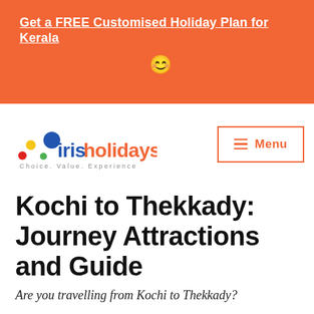Get a FREE Customised Holiday Plan for Kerala 😊
[Figure (logo): Iris Holidays logo with colorful dots and tagline 'Choice. Value. Experience.']
Kochi to Thekkady: Journey Attractions and Guide
Are you travelling from Kochi to Thekkady?